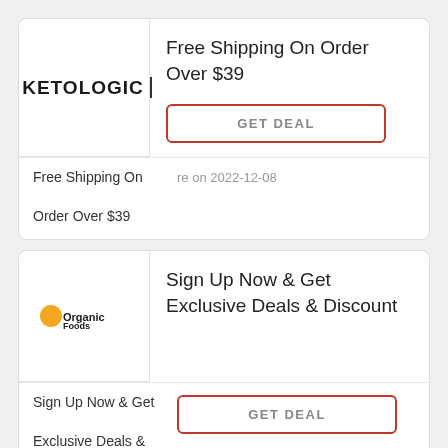[Figure (logo): KetoLogic brand logo in bold uppercase letters]
Free Shipping On Order Over $39
GET DEAL
Free Shipping On Order Over $39
re on 2022-12-08
[Figure (logo): Organic Foods brand logo with orange icon]
Sign Up Now & Get Exclusive Deals & Discount
GET DEAL
Sign Up Now & Get Exclusive Deals &